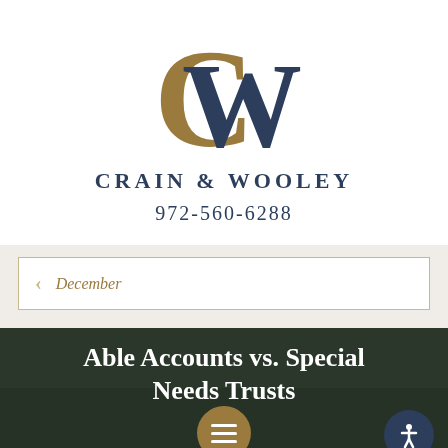[Figure (logo): Crain & Wooley law firm logo — stylized overlapping C and W letters, C in gold/tan, W in dark navy blue]
CRAIN & WOOLEY
972-560-6288
< December
[Figure (photo): Dark green/forest background photo with white bold text overlay reading 'Able Accounts vs. Special Needs Trusts', with a gold hamburger menu button and dark navy accessibility button overlaid]
Able Accounts vs. Special Needs Trusts